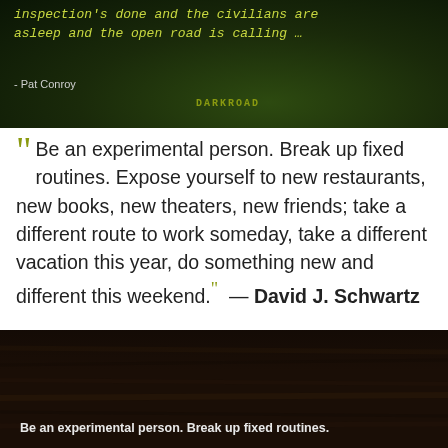[Figure (photo): Dark green nighttime outdoor scene with glowing text quote overlay. Yellow-green Courier typeface text on dark background with grass/nature silhouette.]
Be an experimental person. Break up fixed routines. Expose yourself to new restaurants, new books, new theaters, new friends; take a different route to work someday, take a different vacation this year, do something new and different this weekend. ” — David J. Schwartz
[Figure (photo): Dark wood texture background with white text quote: Be an experimental person. Break up fixed routines.]